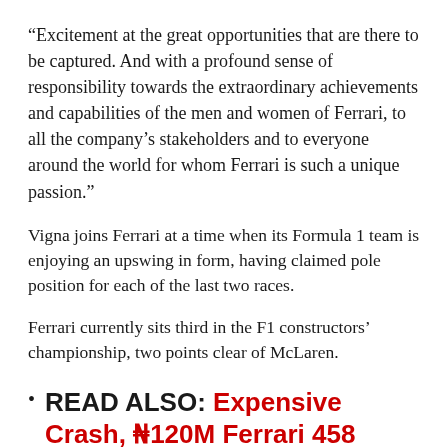“Excitement at the great opportunities that are there to be captured. And with a profound sense of responsibility towards the extraordinary achievements and capabilities of the men and women of Ferrari, to all the company’s stakeholders and to everyone around the world for whom Ferrari is such a unique passion.”
Vigna joins Ferrari at a time when its Formula 1 team is enjoying an upswing in form, having claimed pole position for each of the last two races.
Ferrari currently sits third in the F1 constructors’ championship, two points clear of McLaren.
READ ALSO: Expensive Crash, ₦120M Ferrari 458